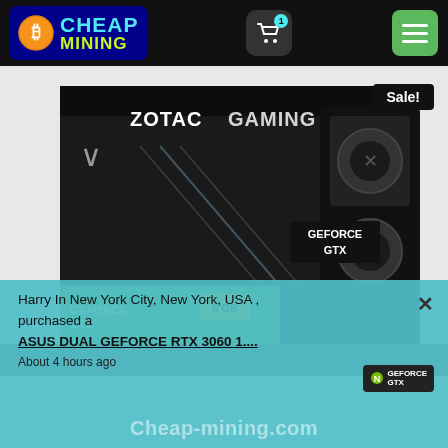Cheap Mining - header with logo, cart, and menu
[Figure (photo): ZOTAC Gaming GeForce GTX graphics card product photo with box]
Sale!
Harry In New York City, New York, USA , purchased a
ASUS DUAL GEFORCE RTX 3060 1....
About 4 hours ago
Cheap-mining.com